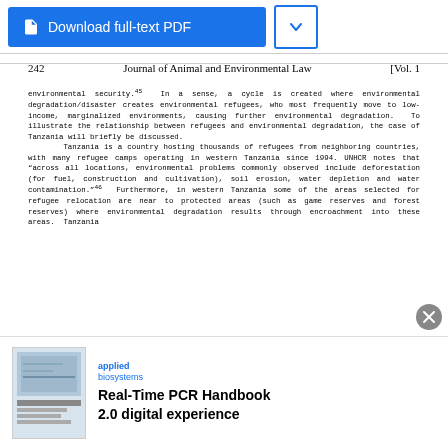[Figure (screenshot): Download full-text PDF button with blue background and a dropdown arrow button]
242    Journal of Animal and Environmental Law    [Vol. 1
environmental security.45  In a sense, a cycle is created where environmental degradation/disaster creates environmental refugees, who most frequently move to low-income, marginalized environments, causing further environmental degradation.  To illustrate the relationship between refugees and environmental degradation, the case of Tanzania will briefly be discussed.
    Tanzania is a country hosting thousands of refugees from neighboring countries, with many refugee camps operating in western Tanzania since 1994. UNHCR notes that “across all locations, environmental problems commonly observed include deforestation (for fuel, construction and cultivation), soil erosion, water depletion and water contamination.”46  Furthermore, in western Tanzania some of the areas selected for refugee relocation are near to protected areas (such as game reserves and forest reserves) where environmental degradation results through encroachment into these areas.  Tanzania
[Figure (infographic): Advertisement for Applied Biosystems Real-Time PCR Handbook 2.0 digital experience, with a thumbnail image and text]